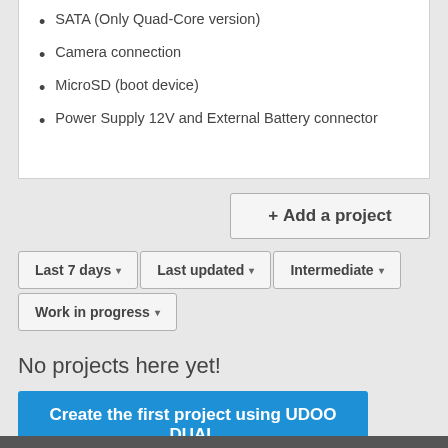SATA (Only Quad-Core version)
Camera connection
MicroSD (boot device)
Power Supply 12V and External Battery connector
+ Add a project
Last 7 days ▾
Last updated ▾
Intermediate ▾
Work in progress ▾
No projects here yet!
Create the first project using UDOO DUAL